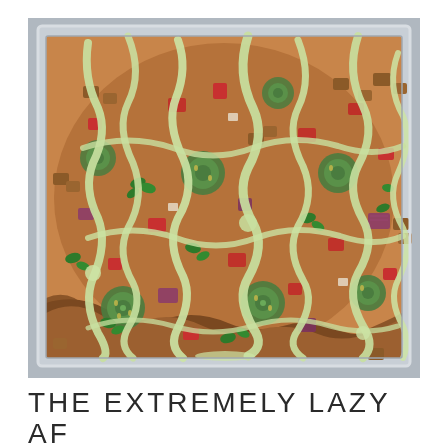[Figure (photo): Overhead close-up photo of loaded nachos or flatbread topped with jalapeños, diced tomatoes, red onion, cilantro, seasoned meat, and a creamy pale green avocado sauce drizzled over everything, served in a foil baking tray.]
THE EXTREMELY LAZY AF